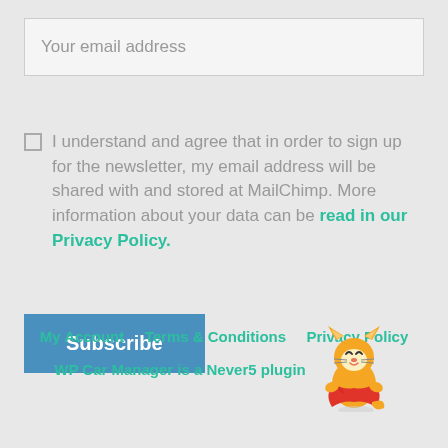Your email address
I understand and agree that in order to sign up for the newsletter, my email address will be shared with and stored at MailChimp. More information about your data can be read in our Privacy Policy.
Subscribe
My Account   Terms & Conditions   Privacy Policy
WP Car Manager is a Never5 plugin
[Figure (illustration): Cat superhero mascot cartoon wearing a red cape]